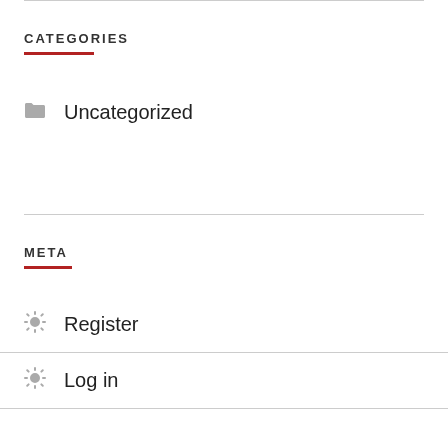CATEGORIES
Uncategorized
META
Register
Log in